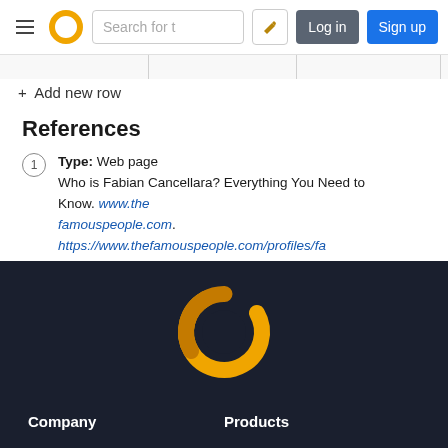[Figure (screenshot): Website navigation bar with hamburger menu, circular logo, search box, edit icon, Log in and Sign up buttons]
|  |
+ Add new row
References
1 Type: Web page Who is Fabian Cancellara? Everything You Need to Know. www.thefamouspeople.com. https://www.thefamouspeople.com/profiles/fabian-cancellara-5894.php
[Figure (logo): Circular golden ring logo on dark navy background]
Company    Products